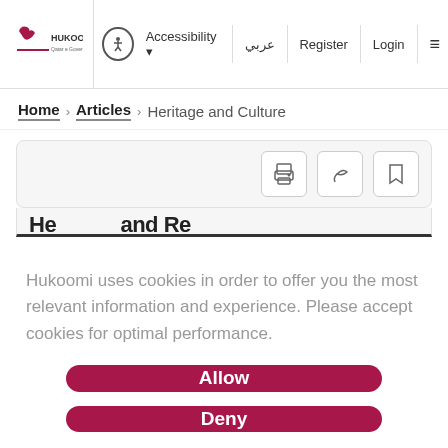[Figure (logo): Hukoomi Qatar e-Government logo with red Arabic calligraphy icon and text HUKOOMI / Qatar e Government]
Accessibility  عربي  Register  Login
Home > Articles > Heritage and Culture
[Figure (screenshot): Article toolbar with print, share, and bookmark icons]
Hukoomi uses cookies in order to offer you the most relevant information and experience. Please accept cookies for optimal performance.
Allow
Deny